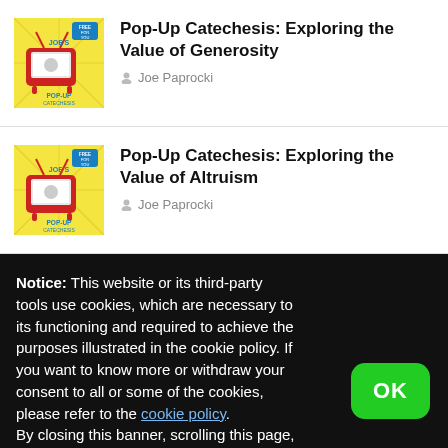[Figure (illustration): Joe's Pop-Up Catechesis book/podcast cover - yellow background with retro TV and red robot/character]
Pop-Up Catechesis: Exploring the Value of Generosity
Joe Paprocki
[Figure (illustration): Joe's Pop-Up Catechesis book/podcast cover - yellow background with retro TV and red robot/character]
Pop-Up Catechesis: Exploring the Value of Altruism
Joe Paprocki
Notice: This website or its third-party tools use cookies, which are necessary to its functioning and required to achieve the purposes illustrated in the cookie policy. If you want to know more or withdraw your consent to all or some of the cookies, please refer to the cookie policy.
By closing this banner, scrolling this page, clicking a link or continuing to browse otherwise, you agree to the use of cookies.